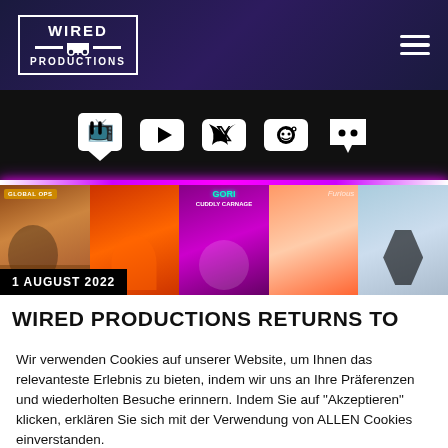[Figure (logo): Wired Productions logo in white with film ticket border design]
[Figure (infographic): Social media icons: Twitch, YouTube, Twitter, Reddit, Discord]
[Figure (photo): Strip of game artwork images: Global Ops, and other game covers including Gori Cuddly Carnage]
1 AUGUST 2022
WIRED PRODUCTIONS RETURNS TO
Wir verwenden Cookies auf unserer Website, um Ihnen das relevanteste Erlebnis zu bieten, indem wir uns an Ihre Präferenzen und wiederholten Besuche erinnern. Indem Sie auf "Akzeptieren" klicken, erklären Sie sich mit der Verwendung von ALLEN Cookies einverstanden.
Cookie settings
ACCEPT